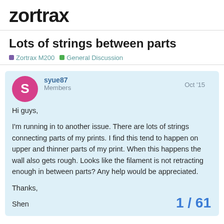zortrax
Lots of strings between parts
Zortrax M200   General Discussion
syue87
Members
Oct '15
Hi guys,

I'm running in to another issue. There are lots of strings connecting parts of my prints. I find this tend to happen on upper and thinner parts of my print. When this happens the wall also gets rough. Looks like the filament is not retracting enough in between parts? Any help would be appreciated.

Thanks,

Shen
1 / 61